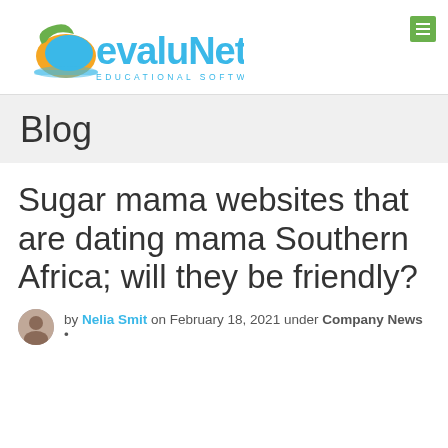[Figure (logo): EvaluNet Educational Software logo — colorful text logo with crescent moon/globe icon and green arrow, 'EDUCATIONAL SOFTWARE' subtitle in teal spaced caps]
Blog
Sugar mama websites that are dating mama Southern Africa; will they be friendly?
by Nelia Smit on February 18, 2021 under Company News •